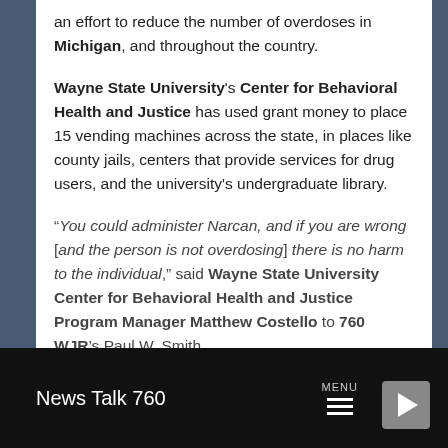an effort to reduce the number of overdoses in Michigan, and throughout the country.
Wayne State University's Center for Behavioral Health and Justice has used grant money to place 15 vending machines across the state, in places like county jails, centers that provide services for drug users, and the university's undergraduate library.
“You could administer Narcan, and if you are wrong [and the person is not overdosing] there is no harm to the individual,” said Wayne State University Center for Behavioral Health and Justice Program Manager Matthew Costello to 760 WJR’s Paul W. Smith.
News Talk 760 | MENU